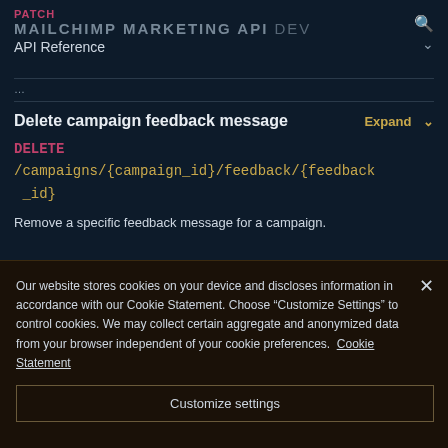PATCH
MAILCHIMP MARKETING API dev
API Reference
...
Delete campaign feedback message
DELETE /campaigns/{campaign_id}/feedback/{feedback_id}
Remove a specific feedback message for a campaign.
Our website stores cookies on your device and discloses information in accordance with our Cookie Statement. Choose “Customize Settings” to control cookies. We may collect certain aggregate and anonymized data from your browser independent of your cookie preferences. Cookie Statement
Customize settings